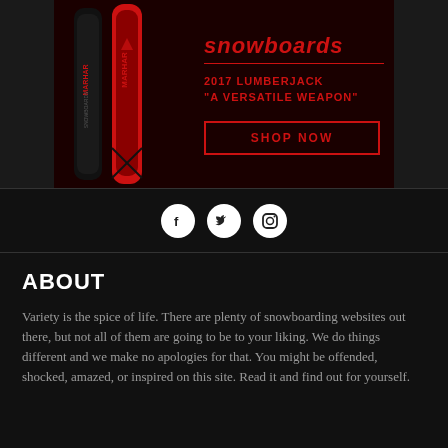[Figure (photo): Marhar Snowboards advertisement banner showing 2017 Lumberjack snowboard with text 'snowboards', '2017 LUMBERJACK "A VERSATILE WEAPON"' and a SHOP NOW button on dark red background]
[Figure (infographic): Social media icons bar with Facebook, Twitter, and Instagram circle icons on dark background]
ABOUT
Variety is the spice of life. There are plenty of snowboarding websites out there, but not all of them are going to be to your liking. We do things different and we make no apologies for that. You might be offended, shocked, amazed, or inspired on this site. Read it and find out for yourself.